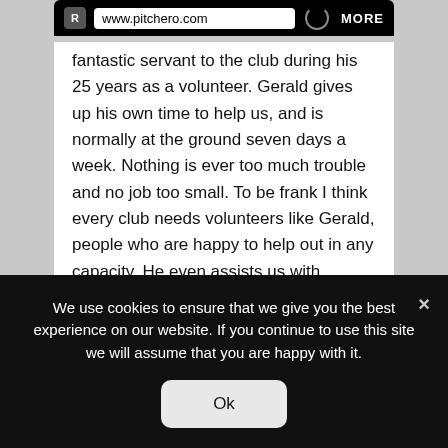www.pitchero.com  MORE
fantastic servant to the club during his 25 years as a volunteer. Gerald gives up his own time to help us, and is normally at the ground seven days a week. Nothing is ever too much trouble and no job too small. To be frank I think every club needs volunteers like Gerald, people who are happy to help out in any capacity. He even assists us with bringing the balls back into the ground when Krusty has hammered another one into the car park - which you can imagine saves us a small fortune in lost balls.
We use cookies to ensure that we give you the best experience on our website. If you continue to use this site we will assume that you are happy with it.
Ok